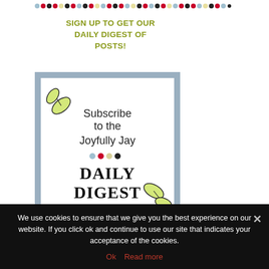[Figure (illustration): Colorful decorative dot border row at top]
SIGN UP TO GET OUR DAILY DIGEST OF POSTS!
[Figure (illustration): Subscribe to the Joyfully Jay Daily Digest subscription banner image with leaf decorations and colored dots]
[Figure (illustration): Colorful decorative dot border row at bottom]
We use cookies to ensure that we give you the best experience on our website. If you click ok and continue to use our site that indicates your acceptance of the cookies.
Ok   Read more